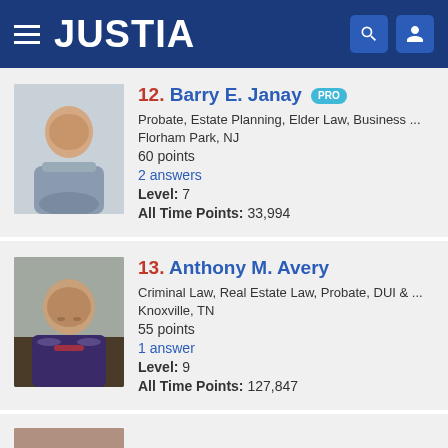JUSTIA
12. Barry E. Janay PRO
Probate, Estate Planning, Elder Law, Business ...
Florham Park, NJ
60 points
2 answers
Level: 7
All Time Points: 33,994
13. Anthony M. Avery
Criminal Law, Real Estate Law, Probate, DUI & ...
Knoxville, TN
55 points
1 answer
Level: 9
All Time Points: 127,847
14. Joseph Jaap